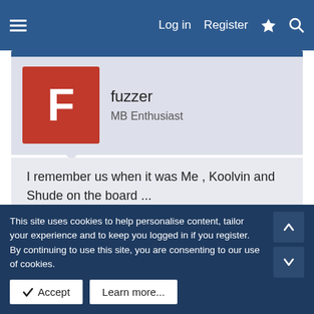Log in  Register
fuzzer
MB Enthusiast
I remember us when it was Me , Koolvin and Shude on the board ...

ahhh ..... look at us now . :bannana:

Three cheers for everyone:bannana:
This site uses cookies to help personalise content, tailor your experience and to keep you logged in if you register.
By continuing to use this site, you are consenting to our use of cookies.